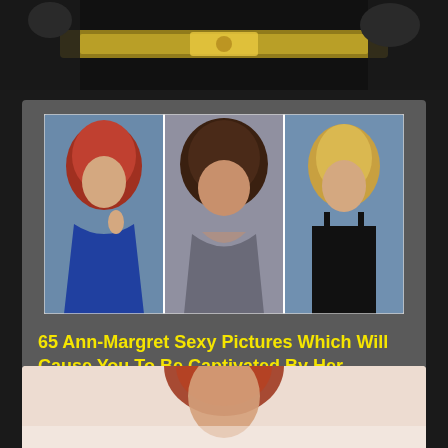[Figure (photo): Top partial image showing people with a championship belt on dark background]
[Figure (photo): Three-panel collage of Ann-Margret photos: left shows her in blue dress with red hair, center shows her with dark curly hair and low-cut top, right shows her in black spaghetti-strap top with blonde hair]
65 Ann-Margret Sexy Pictures Which Will Cause You To Be Captivated By Her Alluring Body
[Figure (photo): Bottom partial image of a red-haired woman against light background]